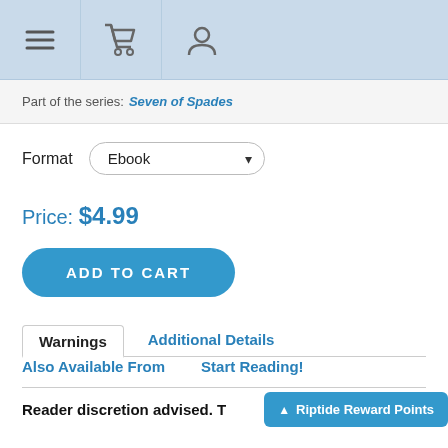[Navigation bar with hamburger menu, shopping cart, and user account icons]
Part of the series: Seven of Spades
Format
Ebook
Price: $4.99
ADD TO CART
Warnings
Additional Details
Also Available From
Start Reading!
Reader discretion advised. T
Riptide Reward Points